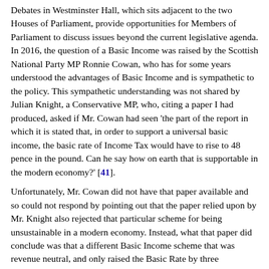Debates in Westminster Hall, which sits adjacent to the two Houses of Parliament, provide opportunities for Members of Parliament to discuss issues beyond the current legislative agenda. In 2016, the question of a Basic Income was raised by the Scottish National Party MP Ronnie Cowan, who has for some years understood the advantages of Basic Income and is sympathetic to the policy. This sympathetic understanding was not shared by Julian Knight, a Conservative MP, who, citing a paper I had produced, asked if Mr. Cowan had seen 'the part of the report in which it is stated that, in order to support a universal basic income, the basic rate of Income Tax would have to rise to 48 pence in the pound. Can he say how on earth that is supportable in the modern economy?' [41].
Unfortunately, Mr. Cowan did not have that paper available and so could not respond by pointing out that the paper relied upon by Mr. Knight also rejected that particular scheme for being unsustainable in a modern economy. Instead, what that paper did conclude was that a different Basic Income scheme that was revenue neutral, and only raised the Basic Rate by three percentage points, would be feasible.
Mr. Knight was not alone in his errors of comprehension, with Damian Hind, the then Minister for Employment, later in the debate claiming that
UBI would create too many losers among the poorest